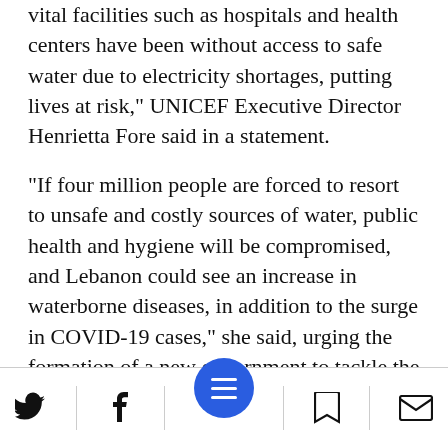vital facilities such as hospitals and health centers have been without access to safe water due to electricity shortages, putting lives at risk," UNICEF Executive Director Henrietta Fore said in a statement.
"If four million people are forced to resort to unsafe and costly sources of water, public health and hygiene will be compromised, and Lebanon could see an increase in waterborne diseases, in addition to the surge in COVID-19 cases," she said, urging the formation of a new government to tackle the crisis.
[Figure (other): Mobile navigation footer bar with Twitter, Facebook, hamburger menu (blue circular button), bookmark, and email icons]